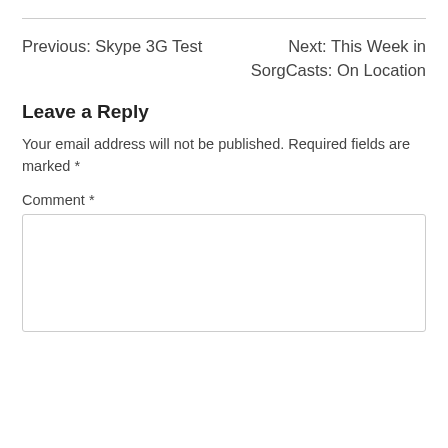Previous: Skype 3G Test
Next: This Week in SorgCasts: On Location
Leave a Reply
Your email address will not be published. Required fields are marked *
Comment *